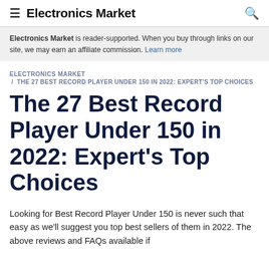Electronics Market
Electronics Market is reader-supported. When you buy through links on our site, we may earn an affiliate commission. Learn more
ELECTRONICS MARKET / THE 27 BEST RECORD PLAYER UNDER 150 IN 2022: EXPERT'S TOP CHOICES
The 27 Best Record Player Under 150 in 2022: Expert's Top Choices
Looking for Best Record Player Under 150 is never such that easy as we'll suggest you top best sellers of them in 2022. The above reviews and FAQs available if...